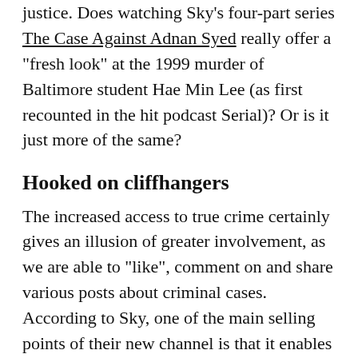justice. Does watching Sky's four-part series The Case Against Adnan Syed really offer a "fresh look" at the 1999 murder of Baltimore student Hae Min Lee (as first recounted in the hit podcast Serial)? Or is it just more of the same?
Hooked on cliffhangers
The increased access to true crime certainly gives an illusion of greater involvement, as we are able to "like", comment on and share various posts about criminal cases. According to Sky, one of the main selling points of their new channel is that it enables audiences to "immerse" themselves in a "true crime community". In a convergence culture where television is increasingly connected to the internet, there are related apps, blogs, podcasts, and YouTube videos that can be easily accessed through your TV "after watching your favourite Sky crime show".